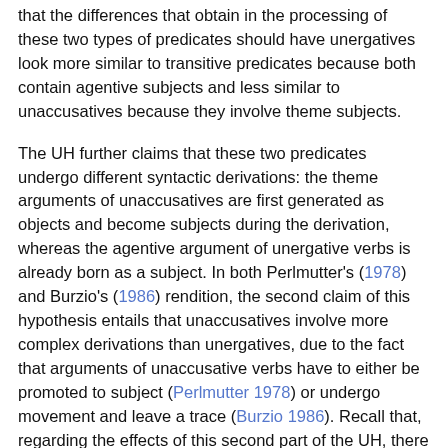that the differences that obtain in the processing of these two types of predicates should have unergatives look more similar to transitive predicates because both contain agentive subjects and less similar to unaccusatives because they involve theme subjects.
The UH further claims that these two predicates undergo different syntactic derivations: the theme arguments of unaccusatives are first generated as objects and become subjects during the derivation, whereas the agentive argument of unergative verbs is already born as a subject. In both Perlmutter's (1978) and Burzio's (1986) rendition, the second claim of this hypothesis entails that unaccusatives involve more complex derivations than unergatives, due to the fact that arguments of unaccusative verbs have to either be promoted to subject (Perlmutter 1978) or undergo movement and leave a trace (Burzio 1986). Recall that, regarding the effects of this second part of the UH, there are two contrasting hypotheses regarding the Basque language: some authors claim that unaccusatives in this language also involve this extra derivational step (Ortiz De Urbina 1989)